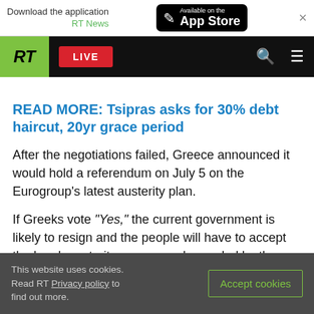Download the application RT News — Available on the App Store
[Figure (screenshot): RT News navigation bar with RT logo (green), LIVE button (red), search and menu icons on black background]
READ MORE: Tsipras asks for 30% debt haircut, 20yr grace period
After the negotiations failed, Greece announced it would hold a referendum on July 5 on the Eurogroup's latest austerity plan.
If Greeks vote “Yes,” the current government is likely to resign and the people will have to accept the harsh austerity measures demanded by the
This website uses cookies. Read RT Privacy policy to find out more. Accept cookies